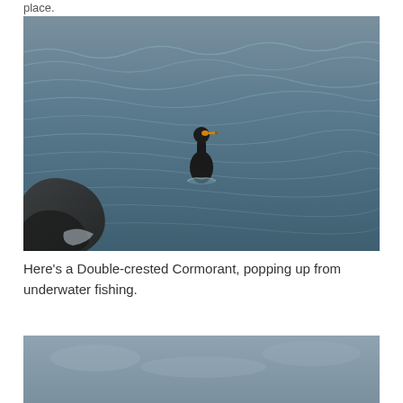place.
[Figure (photo): A Double-crested Cormorant swimming on choppy dark blue-grey water, with dark rocks visible at the lower left. The bird has a dark body and an orange-yellow beak, and appears to have just surfaced from underwater.]
Here's a Double-crested Cormorant, popping up from underwater fishing.
[Figure (photo): Partial view of another photo at the bottom of the page, showing a grey-blue sky or water scene (only the top portion is visible).]